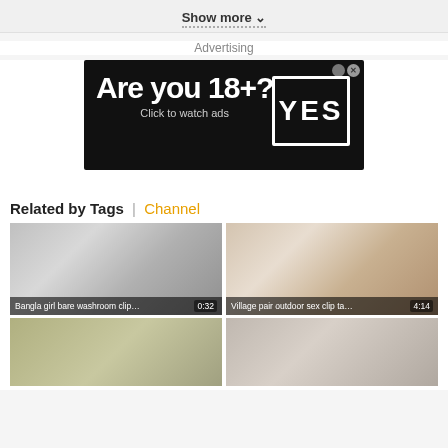Show more ˅
Advertising
[Figure (other): Adult advertising banner on black background. Text: 'Are you 18+? Click to watch ads' with a YES button in white border box. Has close button in top right.]
Related by Tags | Channel
[Figure (other): Video thumbnail: Bangla girl bare washroom clip c... Duration: 0:32]
[Figure (other): Video thumbnail: Village pair outdoor sex clip take... Duration: 4:14]
[Figure (other): Video thumbnail (bottom left, partial)]
[Figure (other): Video thumbnail (bottom right, partial)]